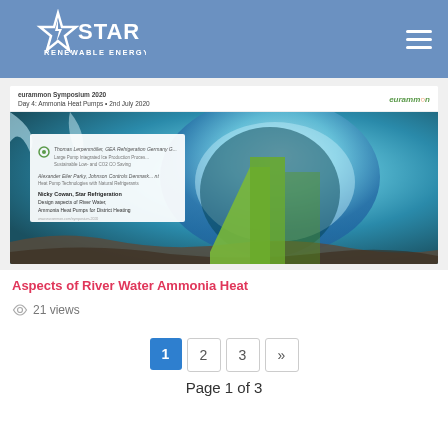STAR RENEWABLE ENERGY
[Figure (screenshot): eurammon Symposium 2020 Day 4: Ammonia Heat Pumps - 2nd July 2020 presentation slide preview showing an ice cave background with a white card listing presenters including Nicky Cowan, Star Refrigeration on Design aspects of River Water, Ammonia Heat Pumps for District Heating, and a green chevron/arrow graphic]
Aspects of River Water Ammonia Heat
21 views
Page 1 of 3